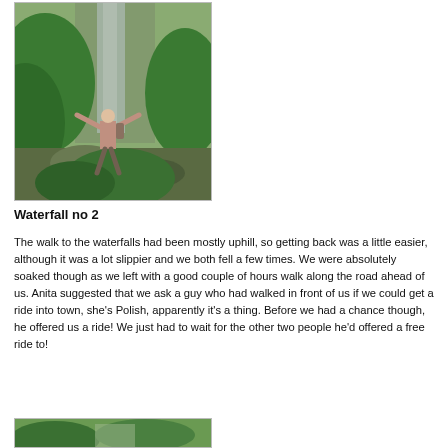[Figure (photo): A man standing with arms outstretched in front of a large waterfall surrounded by lush green vegetation.]
Waterfall no 2
The walk to the waterfalls had been mostly uphill, so getting back was a little easier, although it was a lot slippier and we both fell a few times. We were absolutely soaked though as we left with a good couple of hours walk along the road ahead of us. Anita suggested that we ask a guy who had walked in front of us if we could get a ride into town, she's Polish, apparently it's a thing. Before we had a chance though, he offered us a ride! We just had to wait for the other two people he'd offered a free ride to!
[Figure (photo): Partial view of another outdoor photo, showing green vegetation.]